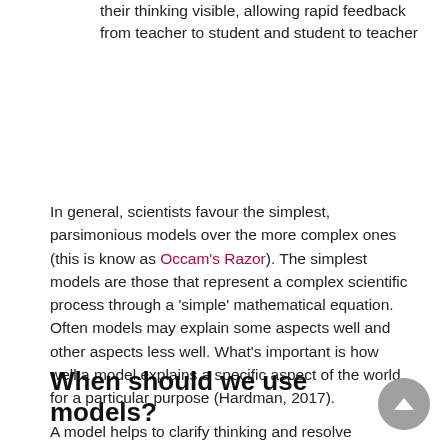their thinking visible, allowing rapid feedback from teacher to student and student to teacher
In general, scientists favour the simplest, parsimonious models over the more complex ones (this is know as Occam's Razor). The simplest models are those that represent a complex scientific process through a 'simple' mathematical equation. Often models may explain some aspects well and other aspects less well. What's important is how well a model explains a specific aspect of the world, for a particular purpose (Hardman, 2017).
When should we use models?
A model helps to clarify thinking and resolve